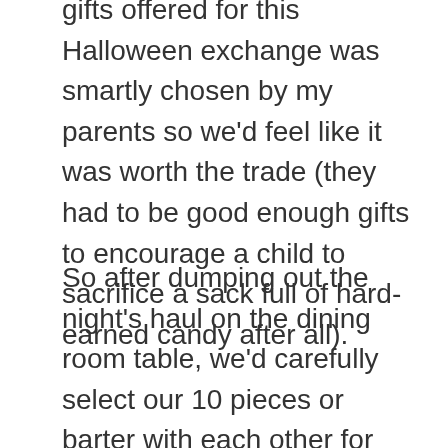gifts offered for this Halloween exchange was smartly chosen by my parents so we'd feel like it was worth the trade (they had to be good enough gifts to encourage a child to sacrifice a sack full of hard-earned candy after all).
So after dumping out the night's haul on the dining room table, we'd carefully select our 10 pieces or barter with each other for candy we liked better. As we got older, we knew which houses to hit that gave out the best candy to maximize those 10 pieces (hello rich houses on the hill that doled out full-size